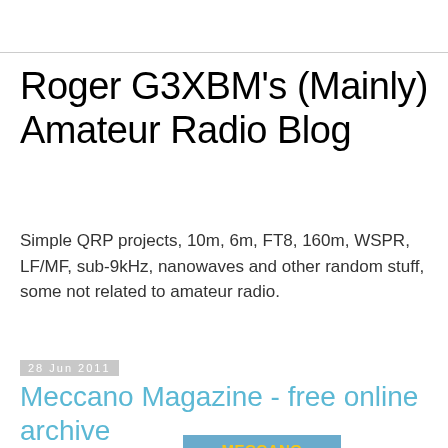Roger G3XBM's (Mainly) Amateur Radio Blog
Simple QRP projects, 10m, 6m, FT8, 160m, WSPR, LF/MF, sub-9kHz, nanowaves and other random stuff, some not related to amateur radio.
28 Jun 2011
Meccano Magazine - free online archive
[Figure (photo): Cover of Meccano Magazine showing the title 'MECCANO MAGAZINE' in yellow text on a blue/grey illustrated background with mechanical/engineering imagery]